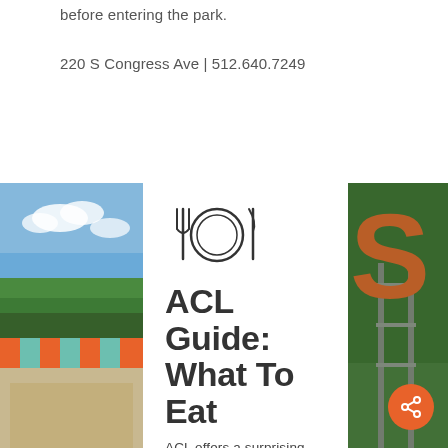before entering the park.
220 S Congress Ave | 512.640.7249
[Figure (photo): Left photo: outdoor festival with colorful striped tent canopy and blue sky with clouds]
[Figure (illustration): Cutlery and plate icon — fork, plate/circle, knife outline]
ACL Guide: What To Eat
ACL offers a surprising amount of food and drink, most of them
[Figure (photo): Right photo: large orange letter S sign on scaffolding structure with green trees in background]
[Figure (infographic): Orange circular share/network button icon in bottom right corner]